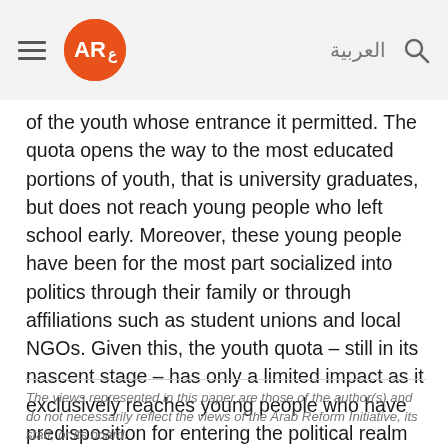AR | العربية
of the youth whose entrance it permitted. The quota opens the way to the most educated portions of youth, that is university graduates, but does not reach young people who left school early. Moreover, these young people have been for the most part socialized into politics through their family or through affiliations such as student unions and local NGOs. Given this, the youth quota – still in its nascent stage – has only a limited impact as it exclusively reaches young people who have predisposition for entering the political realm in the first place.
The views represented in this paper are those of the author(s) and do not necessarily reflect the views of the Arab Reform Initiative, its staff, or its board.